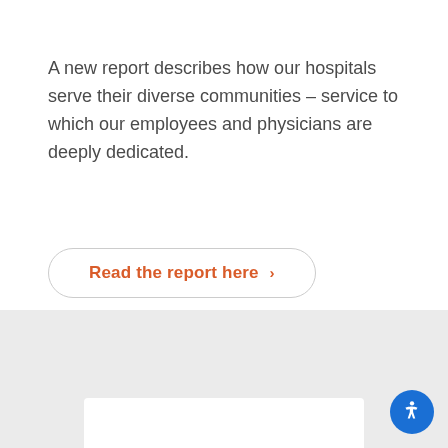A new report describes how our hospitals serve their diverse communities – service to which our employees and physicians are deeply dedicated.
Read the report here ›